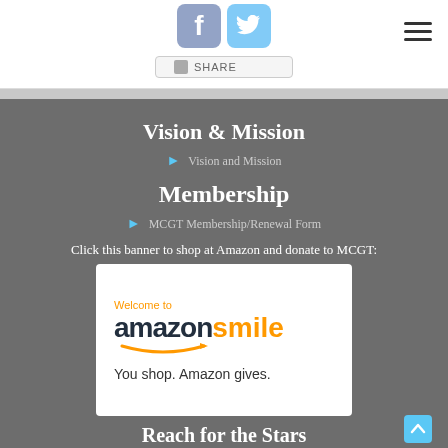[Figure (screenshot): Facebook and Twitter social media icons at top, with a Share button below]
Vision & Mission
Vision and Mission
Membership
MCGT Membership/Renewal Form
Click this banner to shop at Amazon and donate to MCGT:
[Figure (logo): Amazon Smile banner: Welcome to amazon smile. You shop. Amazon gives.]
Reach for the Stars